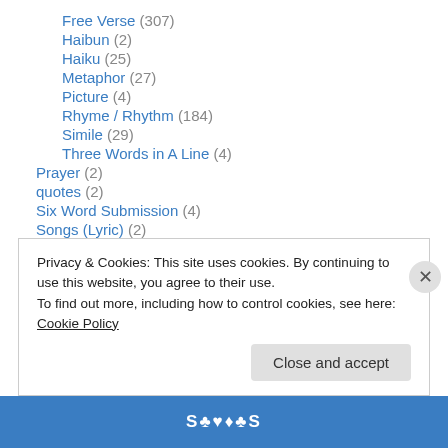Free Verse (307)
Haibun (2)
Haiku (25)
Metaphor (27)
Picture (4)
Rhyme / Rhythm (184)
Simile (29)
Three Words in A Line (4)
Prayer (2)
quotes (2)
Six Word Submission (4)
Songs (Lyric) (2)
True Story (1)
Privacy & Cookies: This site uses cookies. By continuing to use this website, you agree to their use. To find out more, including how to control cookies, see here: Cookie Policy